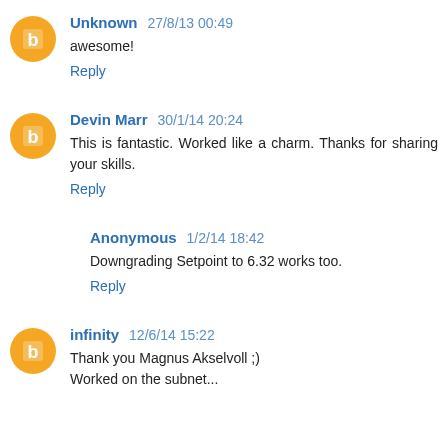Unknown 27/8/13 00:49
awesome!
Reply
Devin Marr 30/1/14 20:24
This is fantastic. Worked like a charm. Thanks for sharing your skills.
Reply
Anonymous 1/2/14 18:42
Downgrading Setpoint to 6.32 works too.
Reply
infinity 12/6/14 15:22
Thank you Magnus Akselvoll ;)
Worked on the subnet...